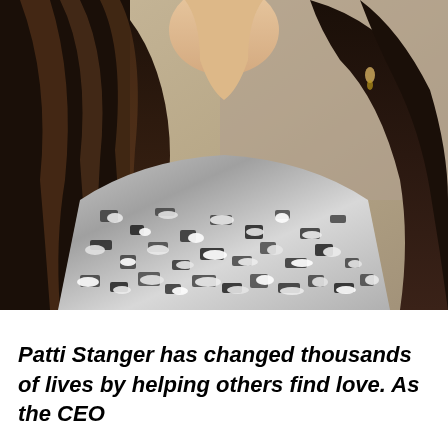[Figure (photo): Close-up photo of a woman with long dark brown hair and highlights, wearing a sparkly silver/black textured jacket or top. The photo is cropped to show from the neck/chin area down to the torso, with a blurred beige/grey background.]
Patti Stanger has changed thousands of lives by helping others find love. As the CEO